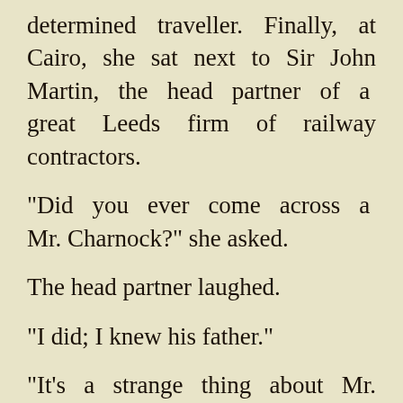determined traveller. Finally, at Cairo, she sat next to Sir John Martin, the head partner of a great Leeds firm of railway contractors.
"Did you ever come across a Mr. Charnock?" she asked.
The head partner laughed.
"I did; I knew his father."
"It's a strange thing about Mr. Charnock," said she, "but one never hears anything of what he was doing before the last few years."
"Why not ask him?" said the North-countryman, bluntly.